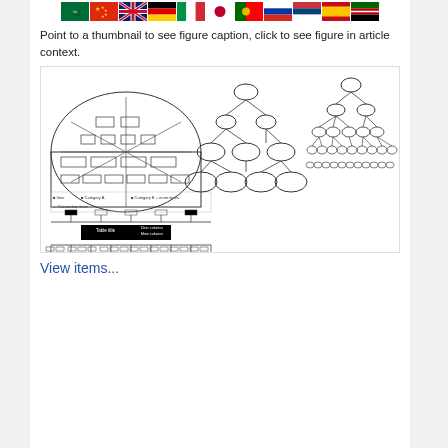[Figure (other): Row of country flag icons at the top of the page]
Point to a thumbnail to see figure caption, click to see figure in article context.
[Figure (schematic): Scientific diagram showing hierarchical tree structures and architectural/organizational diagrams including a dome-shaped figure and several branching tree diagrams with oval nodes at different levels]
View items...